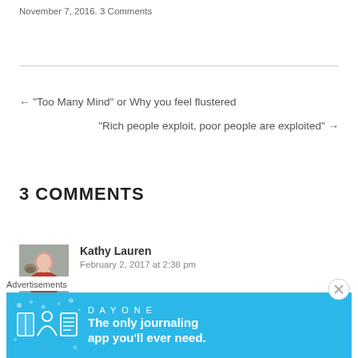November 7, 2016. 3 Comments
← “Too Many Mind” or Why you feel flustered
“Rich people exploit, poor people are exploited” →
3 COMMENTS
[Figure (photo): Avatar photo of Kathy Lauren, a woman with a dog]
Kathy Lauren
February 2, 2017 at 2:38 pm
Advertisements
[Figure (infographic): Day One journaling app advertisement banner with text: The only journaling app you'll ever need.]